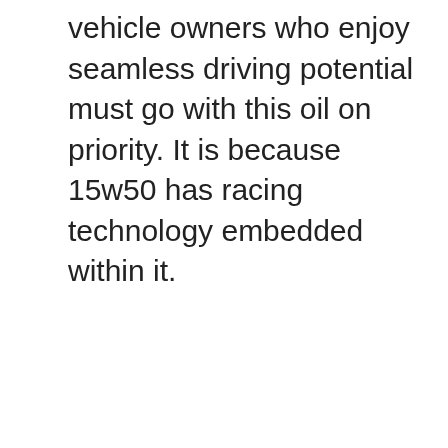vehicle owners who enjoy seamless driving potential must go with this oil on priority. It is because 15w50 has racing technology embedded within it.